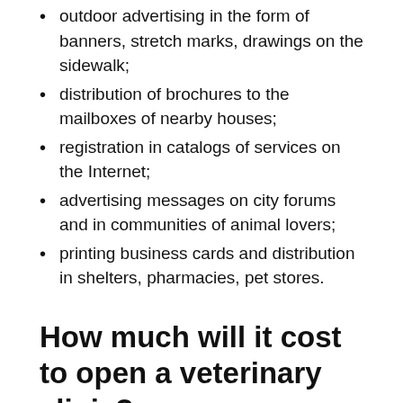outdoor advertising in the form of banners, stretch marks, drawings on the sidewalk;
distribution of brochures to the mailboxes of nearby houses;
registration in catalogs of services on the Internet;
advertising messages on city forums and in communities of animal lovers;
printing business cards and distribution in shelters, pharmacies, pet stores.
How much will it cost to open a veterinary clinic?
Having determined what needs to be done to open such a business, we will calculate how much it will cost.